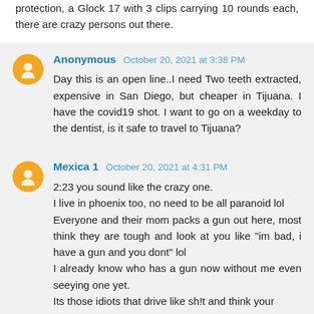protection, a Glock 17 with 3 clips carrying 10 rounds each, there are crazy persons out there.
Anonymous October 20, 2021 at 3:38 PM
Day this is an open line..I need Two teeth extracted, expensive in San Diego, but cheaper in Tijuana. I have the covid19 shot. I want to go on a weekday to the dentist, is it safe to travel to Tijuana?
Mexica 1 October 20, 2021 at 4:31 PM
2:23 you sound like the crazy one.
I live in phoenix too, no need to be all paranoid lol
Everyone and their mom packs a gun out here, most think they are tough and look at you like "im bad, i have a gun and you dont" lol
I already know who has a gun now without me even seeying one yet.
Its those idiots that drive like sh!t and think your